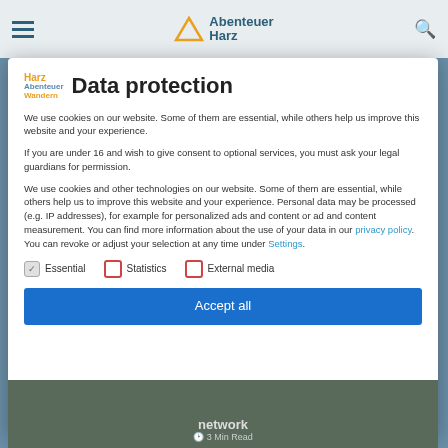Abenteuer Harz
Data protection
We use cookies on our website. Some of them are essential, while others help us improve this website and your experience.
If you are under 16 and wish to give consent to optional services, you must ask your legal guardians for permission.
We use cookies and other technologies on our website. Some of them are essential, while others help us to improve this website and your experience. Personal data may be processed (e.g. IP addresses), for example for personalized ads and content or ad and content measurement. You can find more information about the use of your data in our privacy policy. You can revoke or adjust your selection at any time under Settings.
Essential
Statistics
External media
Accept all